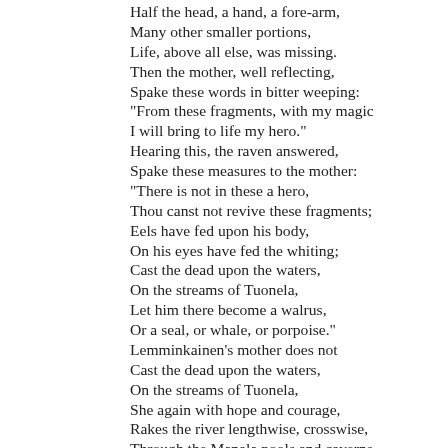Half the head, a hand, a fore-arm,
Many other smaller portions,
Life, above all else, was missing.
Then the mother, well reflecting,
Spake these words in bitter weeping:
"From these fragments, with my magic
I will bring to life my hero."
Hearing this, the raven answered,
Spake these measures to the mother:
"There is not in these a hero,
Thou canst not revive these fragments;
Eels have fed upon his body,
On his eyes have fed the whiting;
Cast the dead upon the waters,
On the streams of Tuonela,
Let him there become a walrus,
Or a seal, or whale, or porpoise."
Lemminkainen's mother does not
Cast the dead upon the waters,
On the streams of Tuonela,
She again with hope and courage,
Rakes the river lengthwise, crosswise,
Through the Manala pools and caverns,
Rakes up half the head, a fore-arm,
Finds a hand and half the back-bone,